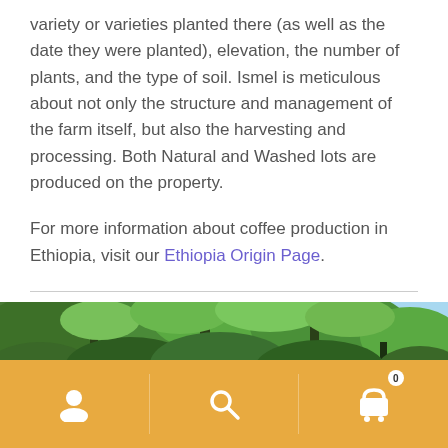variety or varieties planted there (as well as the date they were planted), elevation, the number of plants, and the type of soil. Ismel is meticulous about not only the structure and management of the farm itself, but also the harvesting and processing. Both Natural and Washed lots are produced on the property.
For more information about coffee production in Ethiopia, visit our Ethiopia Origin Page.
Photos:
[Figure (photo): Outdoor photograph of a lush green forest with tall trees and blue sky visible in the upper right portion.]